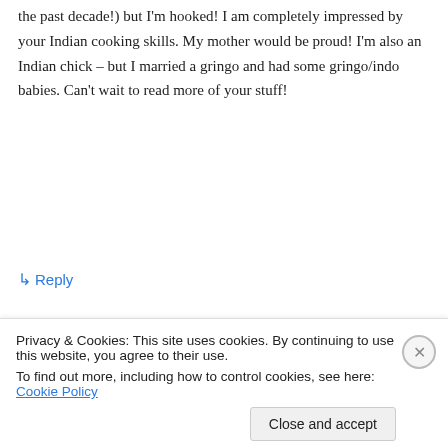the past decade!) but I'm hooked! I am completely impressed by your Indian cooking skills. My mother would be proud! I'm also an Indian chick – but I married a gringo and had some gringo/indo babies. Can't wait to read more of your stuff!
↳ Reply
Shari on April 30, 2012 at 10:37 pm
Privacy & Cookies: This site uses cookies. By continuing to use this website, you agree to their use.
To find out more, including how to control cookies, see here: Cookie Policy
Close and accept